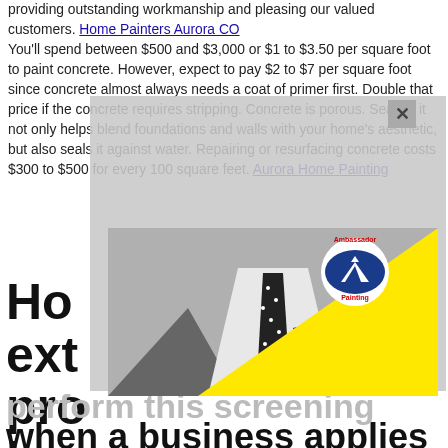providing outstanding workmanship and pleasing our valued customers. Home Painters Aurora CO
You'll spend between $500 and $3,000 or $1 to $3.50 per square foot to paint concrete. However, expect to pay $2 to $7 per square foot since concrete almost always needs a coat of primer first. Double that price if the concrete requires stripping. Concrete is porous. Sealing it not only helps blend foundations and walls with your home's aesthetic, but also seals it against water. Repairing or resurfacing concrete costs $300 to $500 for every 100 square feet. Aurora Home Painting
[Figure (photo): Photo of a man in a suit with polka-dot tie and pocket square, Ambassador Painting badge/logo visible, yellow triangle overlay in lower right corner, partially covered by gray overlay with X dismiss mark.]
Ho... ext... pro... bu... ow... perform this screening when a business applies to join our network and, if the